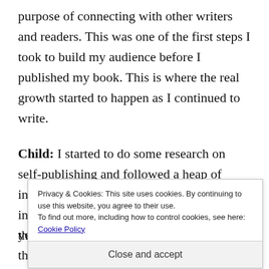purpose of connecting with other writers and readers. This was one of the first steps I took to build my audience before I published my book. This is where the real growth started to happen as I continued to write.
Child: I started to do some research on self-publishing and followed a heap of indie authors who gave a wealth of great information. I asked a lot of questions and this is where I started to develop as a
Privacy & Cookies: This site uses cookies. By continuing to use this website, you agree to their use.
To find out more, including how to control cookies, see here: Cookie Policy
Close and accept
you might think you're an exception and that your